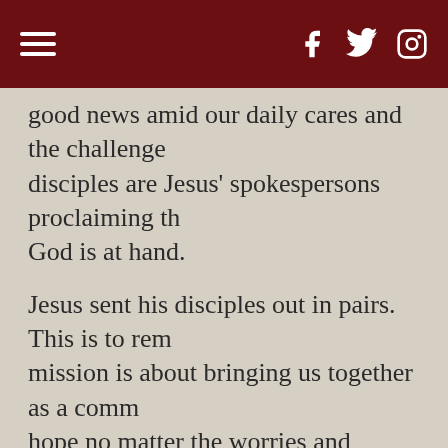Navigation header with hamburger menu and social icons (Facebook, Twitter, Instagram)
good news amid our daily cares and the challenges disciples are Jesus' spokespersons proclaiming that God is at hand.
Jesus sent his disciples out in pairs. This is to remind us that mission is about bringing us together as a community of hope no matter the worries and concerns we carry. It is a confirmation that we can not be a Christian or Church alone. We need each other.
Jesus reminds us that the road of faith will not be easy and we make this journey a bit more difficult by the time... Jesus told his followers at this...